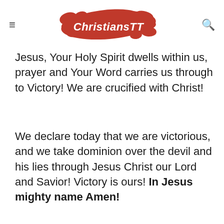ChristiansTT
Jesus, Your Holy Spirit dwells within us, prayer and Your Word carries us through to Victory! We are crucified with Christ!
We declare today that we are victorious, and we take dominion over the devil and his lies through Jesus Christ our Lord and Savior! Victory is ours! In Jesus mighty name Amen!